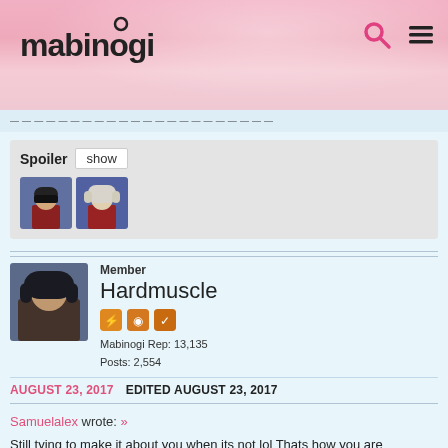Mabinogi
Spoiler  show
[Figure (illustration): Two anime character portraits in a spoiler block]
Member
Hardmuscle
Mabinogi Rep: 13,135
Posts: 2,554
AUGUST 23, 2017  EDITED AUGUST 23, 2017
Samuelalex wrote: »
Still tying to make it about you when its not lol Thats how you are attacking me with lies to benefit you and